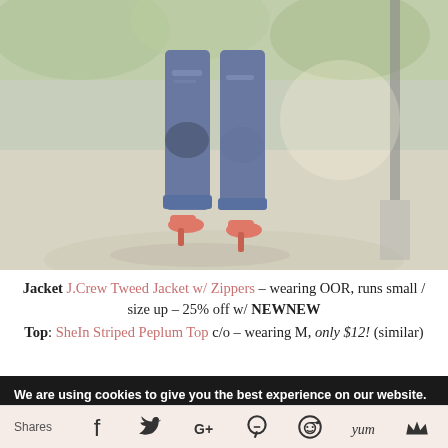[Figure (photo): Fashion photo showing lower legs of a person wearing ripped blue jeans and coral/pink high heels, walking on a light-colored surface outdoors]
Jacket J.Crew Tweed Jacket w/ Zippers – wearing OOR, runs small / size up – 25% off w/ NEWNEW
Top: SheIn Striped Peplum Top c/o – wearing M, only $12! (similar)
We are using cookies to give you the best experience on our website.
You can find out more about which cookies we are using or switch them off in settings.
Shares [social icons: Facebook, Twitter, Google+, Pinterest, Reddit, Yummly, Crown]